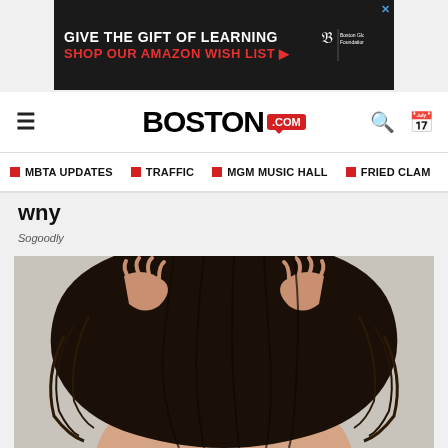[Figure (screenshot): Advertisement banner: dark background with text 'GIVE THE GIFT OF LEARNING' and 'SHOP OUR AMAZON WISH LIST' with arrow, Boston Globe Foundation logo, and X close button]
BOSTON.com — navigation bar with hamburger menu, Boston.com logo, search and calendar icons
MBTA UPDATES  TRAFFIC  MGM MUSIC HALL  FRIED CLAM
wny
Sogoodly
[Figure (photo): Person with long dark hair viewed from behind, hands raised and running fingers through wet/disheveled dark hair, seen against a light gray background. The person appears to be touching their scalp.]